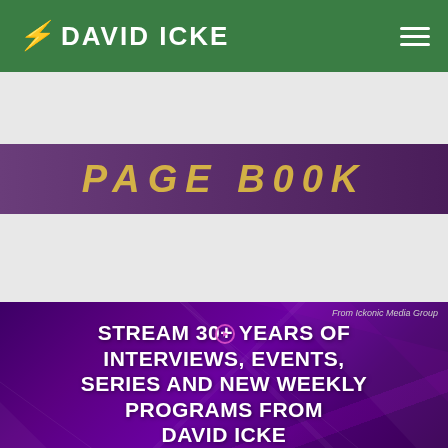DAVID ICKE
[Figure (screenshot): Partially visible banner image with yellow/gold text on purple background showing partial text that appears to be a book title]
[Figure (infographic): Dark purple geometric background advertisement reading: STREAM 30+ YEARS OF INTERVIEWS, EVENTS, SERIES AND NEW WEEKLY PROGRAMS FROM DAVID ICKE EXCLUSIVELY ON ICKONIC - START YOUR 7 DAY FREE TRIAL TODAY. From Ickonic Media Group label in top right corner.]